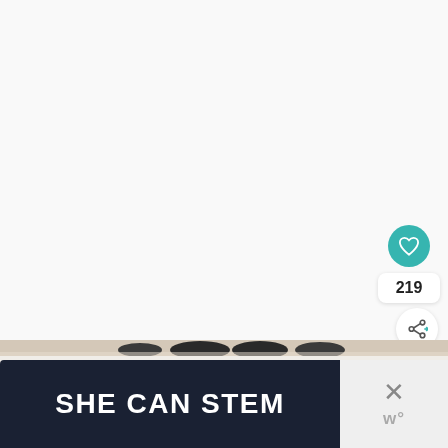[Figure (screenshot): White/light gray main content area of a recipe or food website, mostly blank/empty in this crop]
[Figure (infographic): Teal circular heart/favorite button with white heart icon]
219
[Figure (infographic): White circular share button with share icon]
[Figure (screenshot): WHAT'S NEXT card with thumbnail of a food item and text 'Cheesy Hot Beef...']
[Figure (photo): Food photo strip at bottom edge showing dark circular items on a light background]
[Figure (infographic): SHE CAN STEM advertisement banner in dark navy background with bold white text]
[Figure (infographic): Close/dismiss button area with X icon and 'w°' watermark logo]